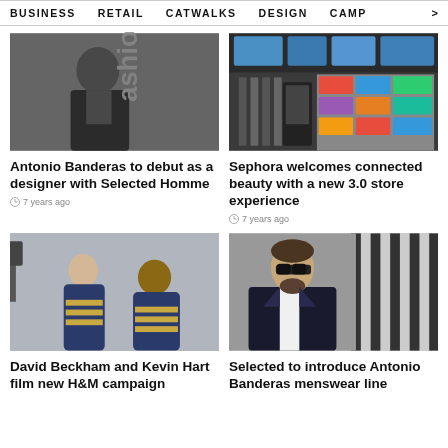BUSINESS   RETAIL   CATWALKS   DESIGN   CAMP >
[Figure (photo): Black and white photo of a man in a leather jacket sitting against a wall with 'fashion s' text visible]
Antonio Banderas to debut as a designer with Selected Homme
7 years ago
[Figure (photo): Photo of a Sephora store interior with product displays and digital screens]
Sephora welcomes connected beauty with a new 3.0 store experience
7 years ago
[Figure (photo): Photo of David Beckham and Kevin Hart wearing matching navy striped sweaters in a studio setting]
David Beckham and Kevin Hart film new H&M campaign
[Figure (photo): Photo of a man wearing sunglasses and a dark suit jacket]
Selected to introduce Antonio Banderas menswear line